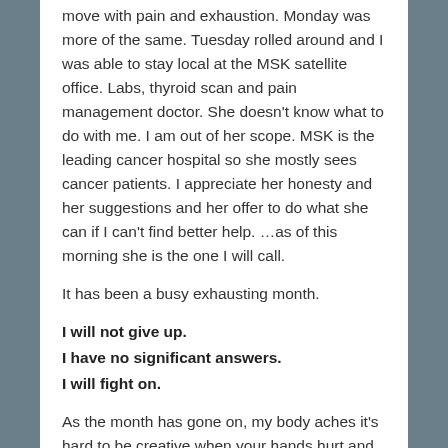move with pain and exhaustion. Monday was more of the same. Tuesday rolled around and I was able to stay local at the MSK satellite office. Labs, thyroid scan and pain management doctor. She doesn't know what to do with me. I am out of her scope. MSK is the leading cancer hospital so she mostly sees cancer patients. I appreciate her honesty and her suggestions and her offer to do what she can if I can't find better help. …as of this morning she is the one I will call.
It has been a busy exhausting month.
I will not give up.
I have no significant answers.
I will fight on.
As the month has gone on, my body aches it's hard to be creative when your hands hurt and swell. This